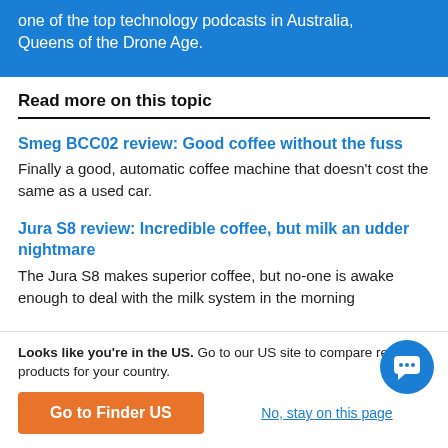one of the top technology podcasts in Australia, Queens of the Drone Age.
Read more on this topic
Smeg BCC02 review: Good coffee without the fuss
Finally a good, automatic coffee machine that doesn't cost the same as a used car.
Jura S8 review: Incredible coffee, but milk an udder nightmare
The Jura S8 makes superior coffee, but no-one is awake enough to deal with the milk system in the morning
Looks like you're in the US. Go to our US site to compare rele products for your country.
Go to Finder US
No, stay on this page